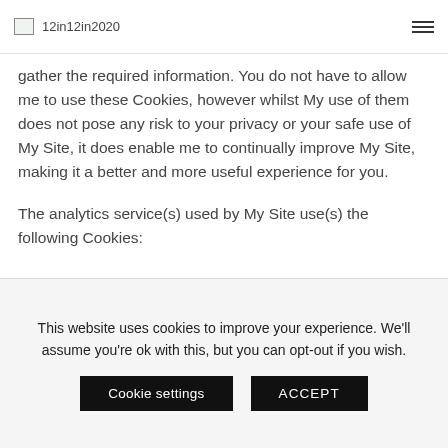12in12in2020
gather the required information. You do not have to allow me to use these Cookies, however whilst My use of them does not pose any risk to your privacy or your safe use of My Site, it does enable me to continually improve My Site, making it a better and more useful experience for you.
The analytics service(s) used by My Site use(s) the following Cookies:
This website uses cookies to improve your experience. We'll assume you're ok with this, but you can opt-out if you wish.
Cookie settings
ACCEPT